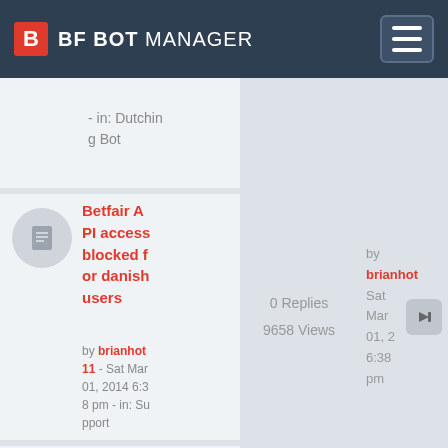BF BOT MANAGER
- in: Dutching Bot
Betfair API access blocked for danish users
by brianhot11 - Sat Mar 01, 2014 6:38 pm  - in: Support
0 Replies
9658 Views
by brianhot
Sat Mar 01, 2
6:38 pm
My Selection Keeps Loosing